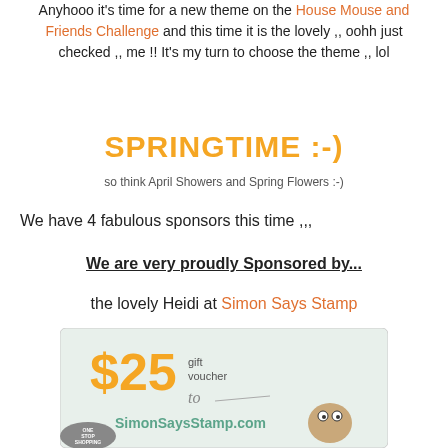Anyhooo it's time for a new theme on the House Mouse and Friends Challenge and this time it is the lovely ,, oohh just checked ,, me !! It's my turn to choose the theme ,, lol
SPRINGTIME :-)
so think April Showers and Spring Flowers :-)
We have 4 fabulous sponsors this time ,,,
We are very proudly Sponsored by...
the lovely Heidi at Simon Says Stamp
[Figure (illustration): Simon Says Stamp $25 gift voucher advertisement image with cartoon characters]